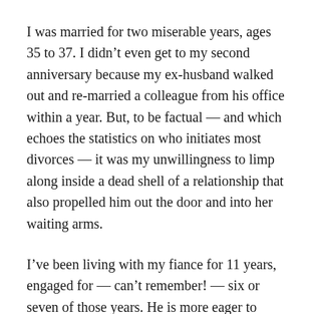I was married for two miserable years, ages 35 to 37. I didn't even get to my second anniversary because my ex-husband walked out and re-married a colleague from his office within a year. But, to be factual — and which echoes the statistics on who initiates most divorces — it was my unwillingness to limp along inside a dead shell of a relationship that also propelled him out the door and into her waiting arms.
I've been living with my fiance for 11 years, engaged for — can't remember! — six or seven of those years. He is more eager to marry than I, partly because his first marriage ended a decade before mine started. I'm getting there, slowly.